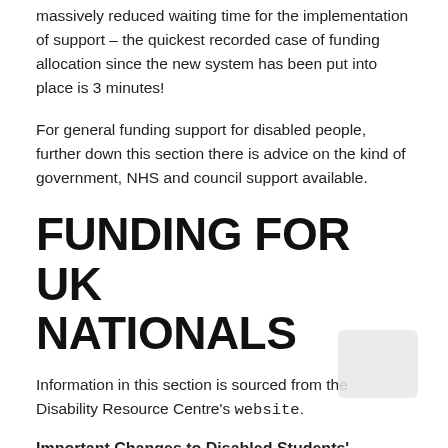massively reduced waiting time for the implementation of support – the quickest recorded case of funding allocation since the new system has been put into place is 3 minutes!
For general funding support for disabled people, further down this section there is advice on the kind of government, NHS and council support available.
FUNDING FOR UK NATIONALS
Information in this section is sourced from the Disability Resource Centre's website.
Important Changes to Disabled Students' Allowances
As of 2016/17 certain non-medical help (NMH) tasks are now the